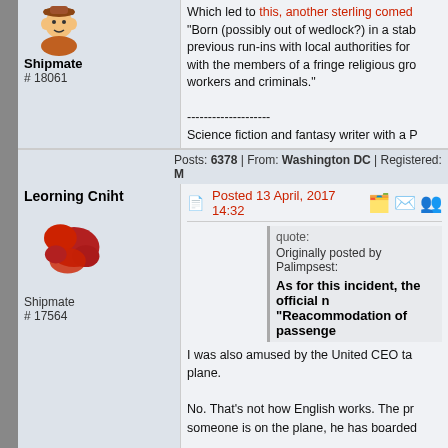Shipmate # 18061
Which led to this, another sterling comed... "Born (possibly out of wedlock?) in a stab... previous run-ins with local authorities for... with the members of a fringe religious gro... workers and criminals."
--------------------
Science fiction and fantasy writer with a P
Posts: 6378 | From: Washington DC | Registered: M
Leorning Cniht
Shipmate
# 17564
Posted 13 April, 2017 14:32
quote:
Originally posted by Palimpsest:
As for this incident, the official n... "Reacommodation of passenge...
I was also amused by the United CEO ta... plane.

No. That's not how English works. The pr... someone is on the plane, he has boarded...

It is possible to remove him from the pla...
Posts: 5026 | From: USA | Registered: Feb 2013 | IR
Alan Cresswell
Posted 13 April, 2017 15:00